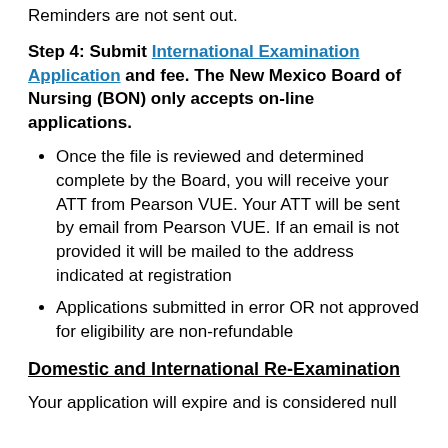Reminders are not sent out.
Step 4: Submit International Examination Application and fee. The New Mexico Board of Nursing (BON) only accepts on-line applications.
Once the file is reviewed and determined complete by the Board, you will receive your ATT from Pearson VUE. Your ATT will be sent by email from Pearson VUE. If an email is not provided it will be mailed to the address indicated at registration
Applications submitted in error OR not approved for eligibility are non-refundable
Domestic and International Re-Examination
Your application will expire and is considered null